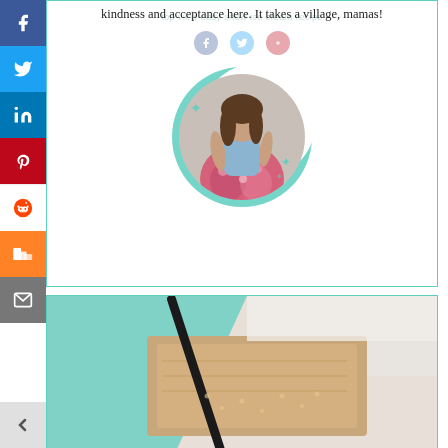kindness and acceptance here. It takes a village, mamas!
[Figure (photo): Social sharing sidebar with Facebook, Twitter, LinkedIn, Pinterest, Reddit, Mix/Stumbleupon, Email buttons and a left arrow]
[Figure (photo): Circular profile photo of a woman in a floral skirt and blue top, posed against a wall, with a teal crescent moon design overlay and decorative star accents]
[Figure (photo): Food photograph showing what appears to be a baked dish with teal background, dark skillet/pan handle visible diagonally]